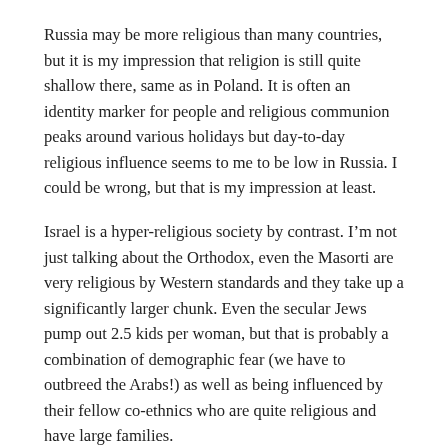Russia may be more religious than many countries, but it is my impression that religion is still quite shallow there, same as in Poland. It is often an identity marker for people and religious communion peaks around various holidays but day-to-day religious influence seems to me to be low in Russia. I could be wrong, but that is my impression at least.
Israel is a hyper-religious society by contrast. I'm not just talking about the Orthodox, even the Masorti are very religious by Western standards and they take up a significantly larger chunk. Even the secular Jews pump out 2.5 kids per woman, but that is probably a combination of demographic fear (we have to outbreed the Arabs!) as well as being influenced by their fellow co-ethnics who are quite religious and have large families.
For these reasons, I wouldn't put too much stock in year-to-year changes, especially given that Russia economy is only just now recovering. Fertility seems to be crashing easier than it is building. The Russian recovery in the early-to-late 2000s was